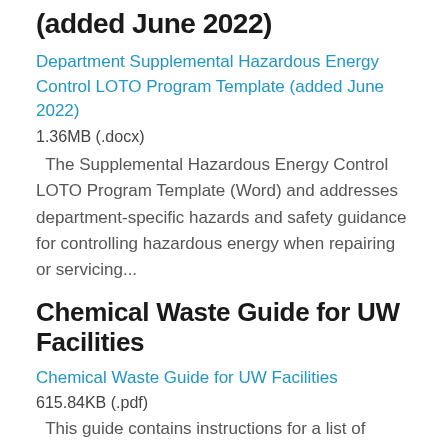(added June 2022)
Department Supplemental Hazardous Energy Control LOTO Program Template (added June 2022)
1.36MB (.docx)
The Supplemental Hazardous Energy Control LOTO Program Template (Word) and addresses department-specific hazards and safety guidance for controlling hazardous energy when repairing or servicing...
Chemical Waste Guide for UW Facilities
Chemical Waste Guide for UW Facilities
615.84KB (.pdf)
This guide contains instructions for a list of